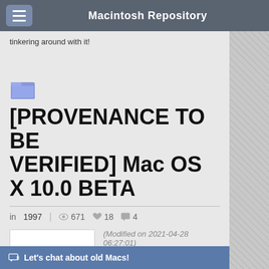Macintosh Repository
tinkering around with it!
[PROVENANCE TO BE VERIFIED] Mac OS X 10.0 BETA
in 1997  671  18  4
[Figure (illustration): Thumbnail placeholder image with a generic file/folder icon in light grey]
(Modified on 2021-04-28 06:27:01)
Is an Mac OS X but in an older version for Macintosh/power Mac G3's
Let's chat about old Macs!